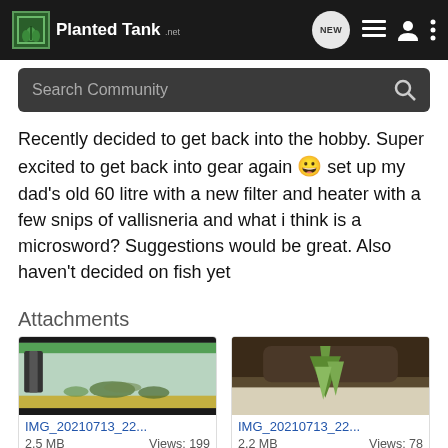PlantedTank
Recently decided to get back into the hobby. Super excited to get back into gear again 😀 set up my dad's old 60 litre with a new filter and heater with a few snips of vallisneria and what i think is a microsword? Suggestions would be great. Also haven't decided on fish yet
Attachments
[Figure (photo): Aquarium tank thumbnail, front view with fish and green plants]
IMG_20210713_22...
2.5 MB    Views: 199
[Figure (photo): Close-up of an aquatic plant growing in white gravel substrate]
IMG_20210713_22...
2.2 MB    Views: 78